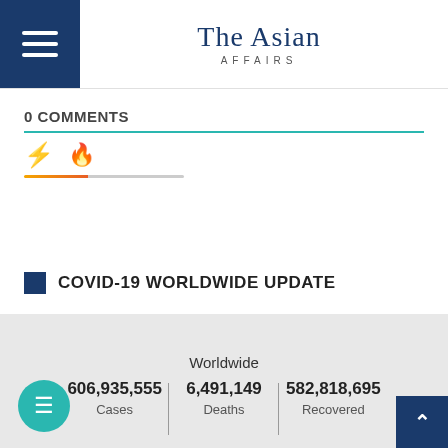The Asian Affairs
0 COMMENTS
COVID-19 WORLDWIDE UPDATE
|  | Worldwide |  |
| --- | --- | --- |
| 606,935,555
Cases | 6,491,149
Deaths | 582,818,695
Recovered |